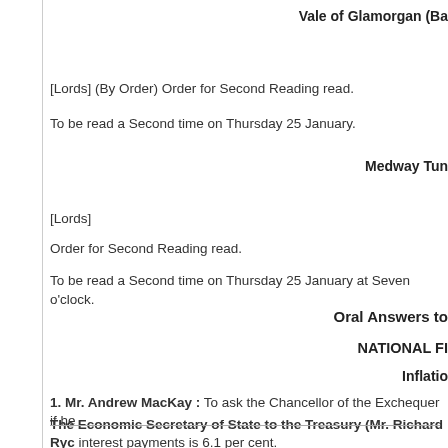Vale of Glamorgan (Ba
[Lords] (By Order) Order for Second Reading read.
To be read a Second time on Thursday 25 January.
Medway Tun
[Lords]
Order for Second Reading read.
To be read a Second time on Thursday 25 January at Seven o'clock.
Oral Answers to
NATIONAL FI
Inflatio
1. Mr. Andrew MacKay : To ask the Chancellor of the Exchequer if he
The Economic Secretary of State to the Treasury (Mr. Richard Ryc interest payments is 6.1 per cent.
Mr. MacKay : Does my hon. Friend recall that before Christmas shop wage claims would lead to job losses and loss of business for the com